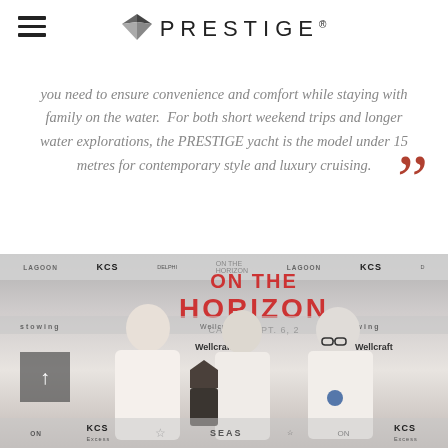PRESTIGE
you need to ensure convenience and comfort while staying with family on the water.  For both short weekend trips and longer water explorations, the PRESTIGE yacht is the model under 15 metres for contemporary style and luxury cruising.
[Figure (photo): Three men in white shirts standing in front of a sponsor backdrop reading 'ON THE HORIZON' with KCS, Lagoon, Wellcraft and other marine brand logos. The man on the left holds a dark award trophy.]